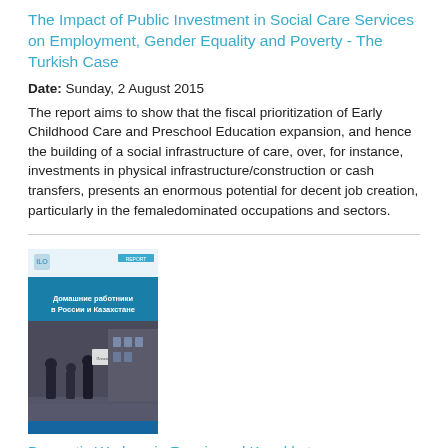The Impact of Public Investment in Social Care Services on Employment, Gender Equality and Poverty - The Turkish Case
Date: Sunday, 2 August 2015
The report aims to show that the fiscal prioritization of Early Childhood Care and Preschool Education expansion, and hence the building of a social infrastructure of care, over, for instance, investments in physical infrastructure/construction or cash transfers, presents an enormous potential for decent job creation, particularly in the femaledominated occupations and sectors.
[Figure (photo): Book cover image for 'Domestic Workers in Russia and Kazakhstan' showing a dark blue cover with Cyrillic text and a photo of people walking in what appears to be a city street.]
Domestic Workers in Russia and Kazakhstan
Date: Saturday, 25 January 2014
One of the first of its kind in Central Asia, this study by Moscow's Migration Research Centre assesses the needs and priorities of Central Asian and internal migrant domestic workers in Moscow